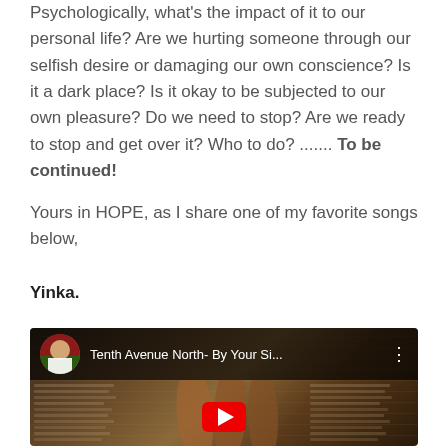Psychologically, what's the impact of it to our personal life? Are we hurting someone through our selfish desire or damaging our own conscience? Is it a dark place? Is it okay to be subjected to our own pleasure? Do we need to stop? Are we ready to stop and get over it? Who to do? ....... To be continued!
Yours in HOPE, as I share one of my favorite songs below,
Yinka.
[Figure (screenshot): YouTube video embed showing 'Tenth Avenue North- By Your Si...' with a video thumbnail of hands/fingers against a background of Bible text pages, and a red play button at the bottom center.]